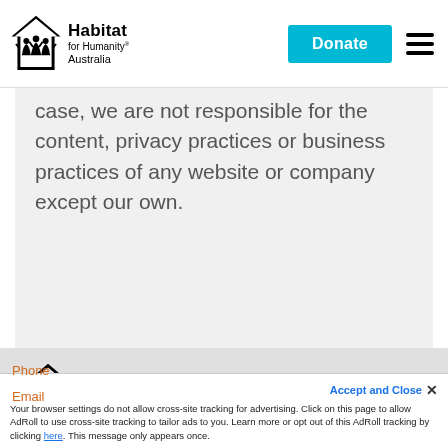[Figure (logo): Habitat for Humanity Australia logo with Donate button and hamburger menu in navigation header]
case, we are not responsible for the content, privacy practices or business practices of any website or company except our own.
[Figure (logo): Habitat for Humanity Australia large logo in footer section]
Phone
Email
Accept and Close ✕
Your browser settings do not allow cross-site tracking for advertising. Click on this page to allow AdRoll to use cross-site tracking to tailor ads to you. Learn more or opt out of this AdRoll tracking by clicking here. This message only appears once.